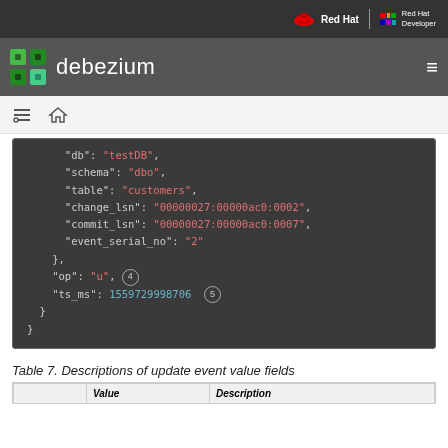Red Hat | Red Hat Developer
debezium
[Figure (screenshot): Code block showing JSON fields: db: testDB, schema: dbo, table: customers, change_lsn: 00000027:00000ac0:0002, commit_lsn: 00000027:00000ac0:0007, event_serial_no: 2, }, op: u (circled 4), ts_ms: 1559729998706 (circled 5), }, }]
Table 7. Descriptions of update event value fields
|  | Value | Description |
| --- | --- | --- |